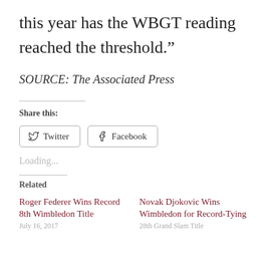this year has the WBGT reading reached the threshold.”
SOURCE: The Associated Press
Share this:
Twitter  Facebook
Loading...
Related
Roger Federer Wins Record 8th Wimbledon Title
Novak Djokovic Wins Wimbledon for Record-Tying